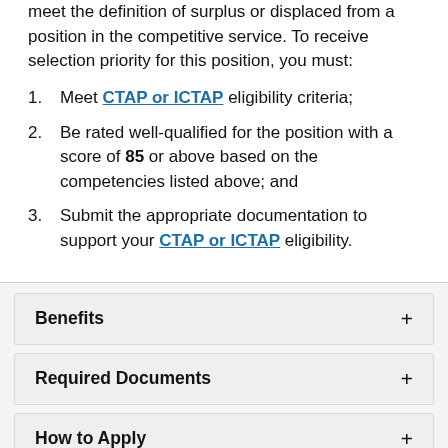meet the definition of surplus or displaced from a position in the competitive service. To receive selection priority for this position, you must:
Meet CTAP or ICTAP eligibility criteria;
Be rated well-qualified for the position with a score of 85 or above based on the competencies listed above; and
Submit the appropriate documentation to support your CTAP or ICTAP eligibility.
Benefits
Required Documents
How to Apply
Fair and Transparent